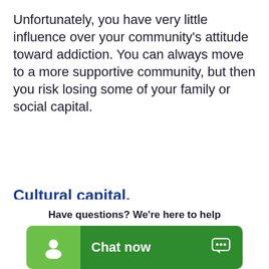Unfortunately, you have very little influence over your community's attitude toward addiction. You can always move to a more supportive community, but then you risk losing some of your family or social capital.
Cultural capital.
This goes with community capital. This has to do with cultural values. Different approaches to treatment may resonate better with certain cultural values. These often have to do with religion or cultural identity. Approaches to treatment that foster a sense of identity and inclusion are often more effective.
Have questions? We're here to help
[Figure (other): Chat now button widget with person icon on green background and chat bubble icon]